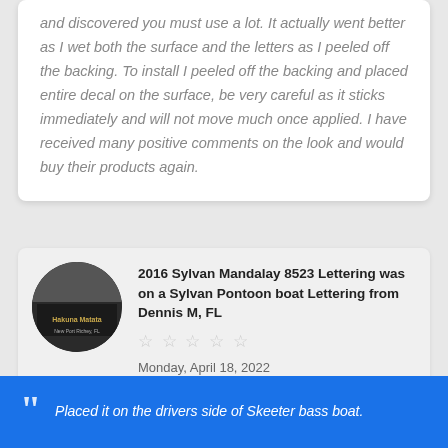and discovered you must use a lot. It actually went better as I wet both the surface and the letters as I peeled off the backing. To install I peeled off the backing and placed entire decal on the surface, be very careful as it sticks immediately and will not move much once applied. I have received many positive comments on the look and would buy their products again.
[Figure (photo): Circular avatar photo showing a dark boat hull with gold lettering 'Hakuna Matata' and smaller text 'New Port Richey, FL']
2016 Sylvan Mandalay 8523 Lettering was on a Sylvan Pontoon boat Lettering from Dennis M, FL
☆☆☆☆☆
Monday, April 18, 2022
Placed it on the drivers side of Skeeter bass boat.